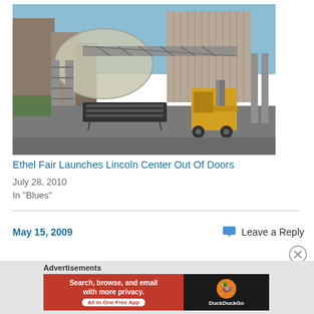[Figure (photo): Outdoor construction scene near Lincoln Center with scaffolding, metal barriers, a forklift, and city buildings in the background under a blue sky.]
Ethel Fair Launches Lincoln Center Out Of Doors
July 28, 2010
In "Blues"
May 15, 2009
Leave a Reply
Advertisements
[Figure (screenshot): DuckDuckGo advertisement banner: 'Search, browse, and email with more privacy. All in One Free App' with DuckDuckGo logo on dark background.]